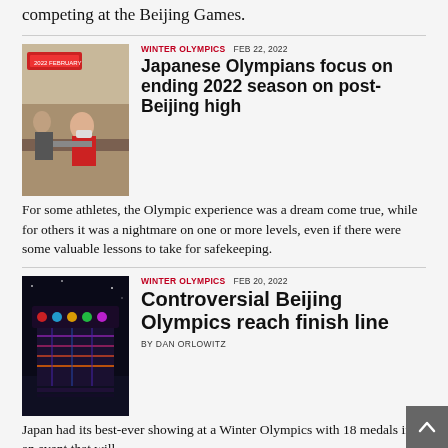competing at the Beijing Games.
[Figure (photo): People at what appears to be an airport or travel check-in desk, with a woman in a mask seated behind a counter.]
WINTER OLYMPICS  FEB 22, 2022
Japanese Olympians focus on ending 2022 season on post-Beijing high
For some athletes, the Olympic experience was a dream come true, while for others it was a nightmare on one or more levels, even if there were some valuable lessons to take for safekeeping.
[Figure (photo): Nighttime photo of a colorfully lit structure, likely a stadium or landmark associated with the Beijing Olympics closing ceremony.]
WINTER OLYMPICS  FEB 20, 2022
Controversial Beijing Olympics reach finish line
BY DAN ORLOWITZ
Japan had its best-ever showing at a Winter Olympics with 18 medals in an event that will…